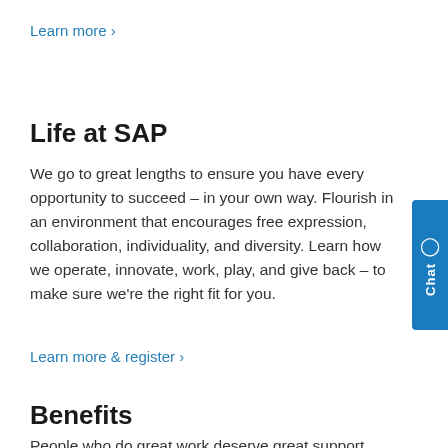Learn more ›
Life at SAP
We go to great lengths to ensure you have every opportunity to succeed – in your own way. Flourish in an environment that encourages free expression, collaboration, individuality, and diversity. Learn how we operate, innovate, work, play, and give back – to make sure we’re the right fit for you.
Learn more & register ›
Benefits
People who do great work deserve great support.